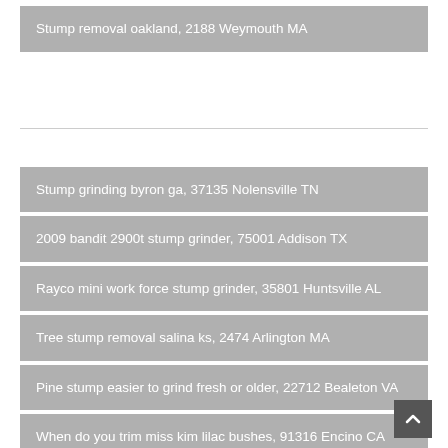Stump removal oakland, 2188 Weymouth MA
Stump grinding byron ga, 37135 Nolensville TN
2009 bandit 2900t stump grinder, 75001 Addison TX
Rayco mini work force stump grinder, 35801 Huntsville AL
Tree stump removal salina ks, 2474 Arlington MA
Pine stump easier to grind fresh or older, 22712 Bealeton VA
When do you trim miss kim lilac bushes, 91316 Encino CA